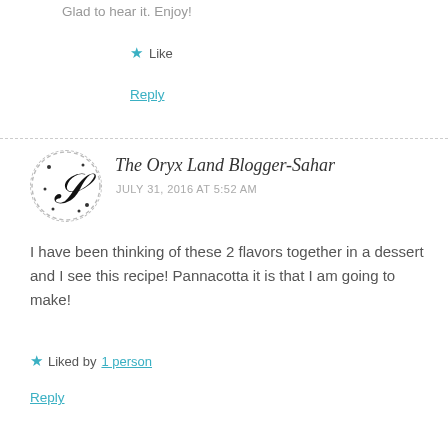Glad to hear it. Enjoy!
★ Like
Reply
The Oryx Land Blogger-Sahar
JULY 31, 2016 AT 5:52 AM
I have been thinking of these 2 flavors together in a dessert and I see this recipe! Pannacotta it is that I am going to make!
★ Liked by 1 person
Reply